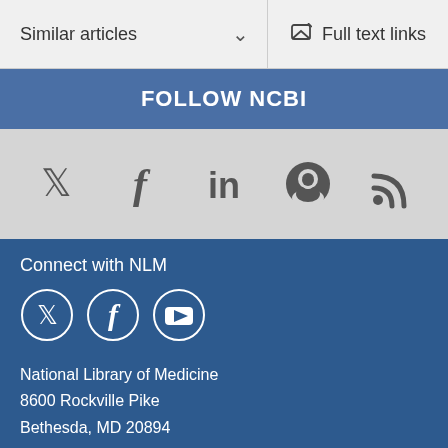Similar articles
Full text links
FOLLOW NCBI
[Figure (infographic): Social media icons row: Twitter, Facebook, LinkedIn, GitHub, RSS on light gray background]
Connect with NLM
[Figure (infographic): Social media circle icons: Twitter, Facebook, YouTube on dark blue background]
National Library of Medicine
8600 Rockville Pike
Bethesda, MD 20894
Web Policies
FOIA
HHS Vulnerability Disclosure